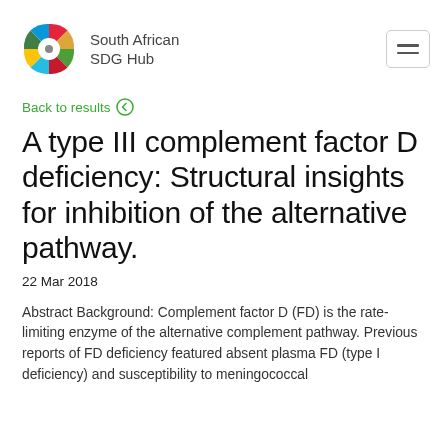South African SDG Hub
Back to results
A type III complement factor D deficiency: Structural insights for inhibition of the alternative pathway.
22 Mar 2018
Abstract Background: Complement factor D (FD) is the rate-limiting enzyme of the alternative complement pathway. Previous reports of FD deficiency featured absent plasma FD (type I deficiency) and susceptibility to meningococcal